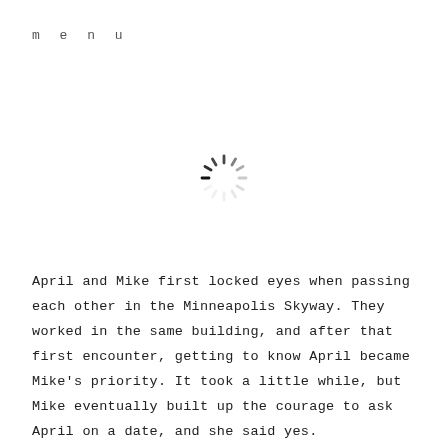menu
[Figure (other): A loading spinner icon (circular dashed ring) centered on the upper portion of the page]
April and Mike first locked eyes when passing each other in the Minneapolis Skyway. They worked in the same building, and after that first encounter, getting to know April became Mike’s priority. It took a little while, but Mike eventually built up the courage to ask April on a date, and she said yes.